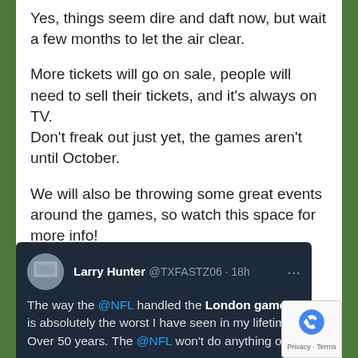Yes, things seem dire and daft now, but wait a few months to let the air clear.
More tickets will go on sale, people will need to sell their tickets, and it's always on TV. Don't freak out just yet, the games aren't until October.
We will also be throwing some great events around the games, so watch this space for more info!
[Figure (screenshot): Tweet from Larry Hunter @TXFASTZ06 18h: 'The way the @NFL handled the London games is absolutely the worst I have seen in my lifetime. Over 50 years. The @NFL won't do anything of...']